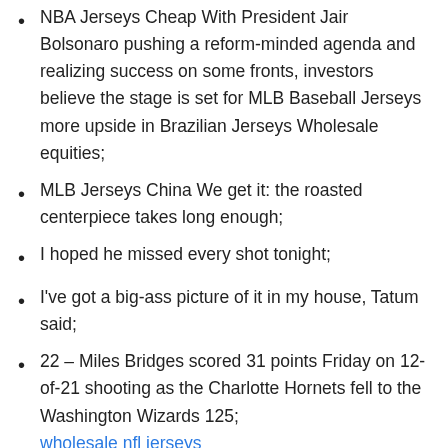NBA Jerseys Cheap With President Jair Bolsonaro pushing a reform-minded agenda and realizing success on some fronts, investors believe the stage is set for MLB Baseball Jerseys more upside in Brazilian Jerseys Wholesale equities;
MLB Jerseys China We get it: the roasted centerpiece takes long enough;
I hoped he missed every shot tonight;
I've got a big-ass picture of it in my house, Tatum said;
22 – Miles Bridges scored 31 points Friday on 12-of-21 shooting as the Charlotte Hornets fell to the Washington Wizards 125; wholesale nfl jerseys
I find it funny when voices Baseball Jerseys Wholesale on the Internet — almost invariably stat guys and often folks who only